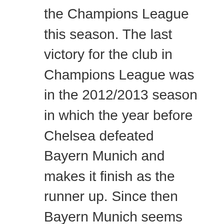the Champions League this season. The last victory for the club in Champions League was in the 2012/2013 season in which the year before Chelsea defeated Bayern Munich and makes it finish as the runner up. Since then Bayern Munich seems to be lost within the competition of Champions League. Today, alongside its fierce battle for the Bundesliga title with RB Leipzig, it is reasonable to say that the team is ready to be back to the biggest stage of European football championship as the Champions League winner.
The year of 2014/2015 was the last time Barcelona won the Champions League title. Since then the club has never been in any serious contention regarding is Champions League journey. Yet in the league, Barcelona remains the supreme team by winning the last two seasons of La Liga. This season Barcelona